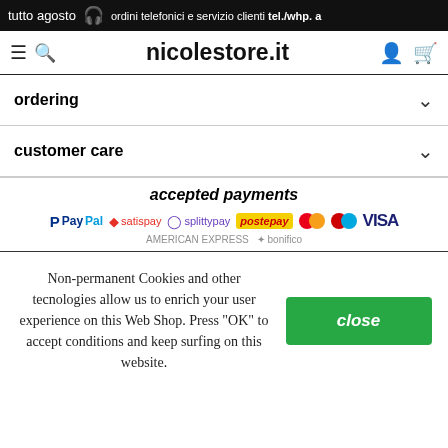tutto agosto  🎧  ordini telefonici e servizio clienti tel./whp. a
nicolestore.it
ordering
customer care
accepted payments
[Figure (logo): Payment method logos: PayPal, satispay, splittypay, postepay, Mastercard (two variants), VISA, and partially visible others (American Express, bonifico)]
Non-permanent Cookies and other tecnologies allow us to enrich your user experience on this Web Shop. Press "OK" to accept conditions and keep surfing on this website.